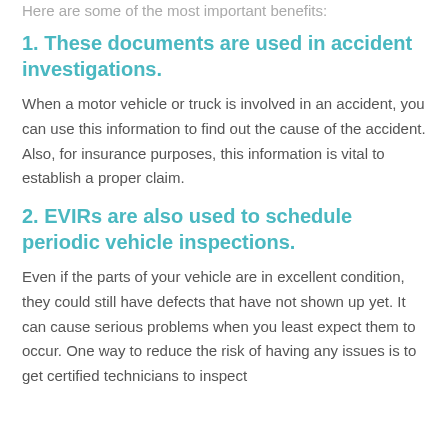Here are some of the most important benefits:
1. These documents are used in accident investigations.
When a motor vehicle or truck is involved in an accident, you can use this information to find out the cause of the accident. Also, for insurance purposes, this information is vital to establish a proper claim.
2. EVIRs are also used to schedule periodic vehicle inspections.
Even if the parts of your vehicle are in excellent condition, they could still have defects that have not shown up yet. It can cause serious problems when you least expect them to occur. One way to reduce the risk of having any issues is to get certified technicians to inspect